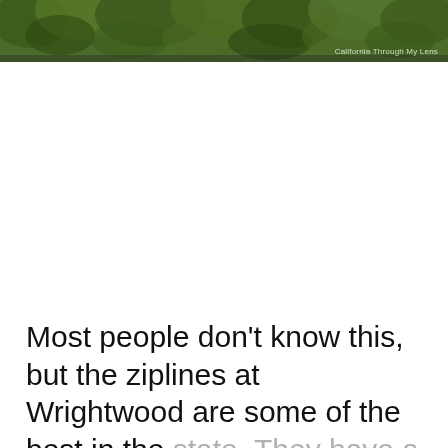[Figure (photo): A photograph of dense green forest canopy/trees viewed from below or at ground level, with a watermark reading 'California Through My Lens' in the bottom right corner.]
Most people don't know this, but the ziplines at Wrightwood are some of the best in the state. They have a canopy tour that lasts about 3 hours and takes you on a half dozen